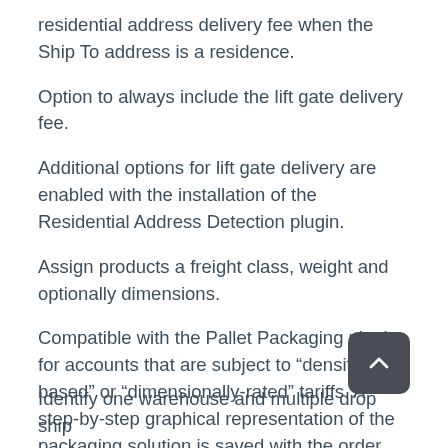residential address delivery fee when the Ship To address is a residence.
Option to always include the lift gate delivery fee.
Additional options for lift gate delivery are enabled with the installation of the Residential Address Detection plugin.
Assign products a freight class, weight and optionally dimensions.
Compatible with the Pallet Packaging plugin for accounts that are subject to “density-based” or “dimensionally-rated” tariffs. A step-by-step graphical representation of the packaging solution is saved with the order.
Identify one warehouse and multiple drop ship